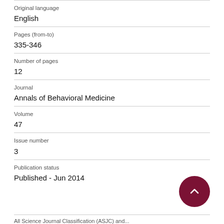Original language
English
Pages (from-to)
335-346
Number of pages
12
Journal
Annals of Behavioral Medicine
Volume
47
Issue number
3
Publication status
Published - Jun 2014
All Science Journal Classification (ASJC) and...